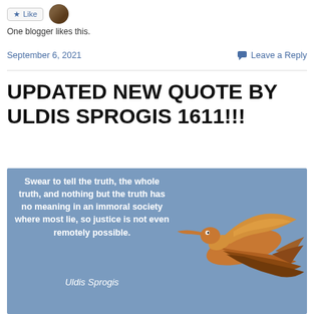One blogger likes this.
September 6, 2021   Leave a Reply
UPDATED NEW QUOTE BY ULDIS SPROGIS 1611!!!
[Figure (photo): A bird in flight against a blue sky background, with overlaid quote text reading: 'Swear to tell the truth, the whole truth, and nothing but the truth has no meaning in an immoral society where most lie, so justice is not even remotely possible. — Uldis Sprogis']